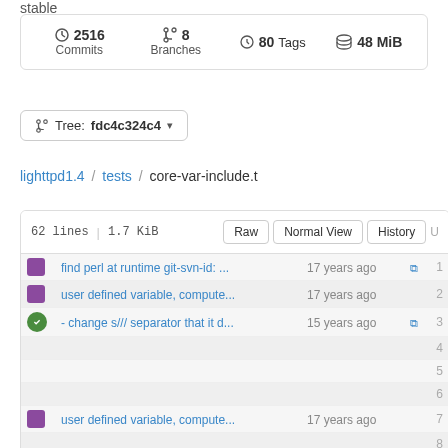stable
2516 Commits  |  8 Branches  |  80 Tags  |  48 MiB
Tree: fdc4c324c4
lighttpd1.4 / tests / core-var-include.t
| avatar | message | time | copy | line |
| --- | --- | --- | --- | --- |
| purple | find perl at runtime git-svn-id: ... | 17 years ago | copy | 1 |
| purple | user defined variable, compute... | 17 years ago |  | 2 |
| green | - change s/// separator that it d... | 15 years ago | copy | 3 |
|  |  |  |  | 4 |
|  |  |  |  | 5 |
|  |  |  |  | 6 |
| purple | user defined variable, compute... | 17 years ago |  | 7 |
|  |  |  |  | 8 |
|  |  |  |  | 9 |